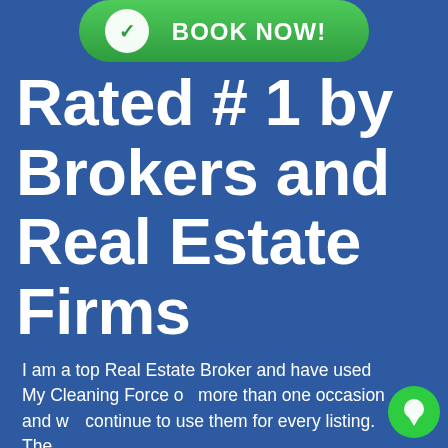[Figure (illustration): Green rounded button with phone/checkmark circle icon and 'BOOK NOW!' text, partially cropped at top]
Rated # 1 by Brokers and Real Estate Firms
I am a top Real Estate Broker and have used My Cleaning Force on more than one occasion and will continue to use them for every listing. They are perform...
[Figure (illustration): Green circular chat bubble icon in bottom right corner]